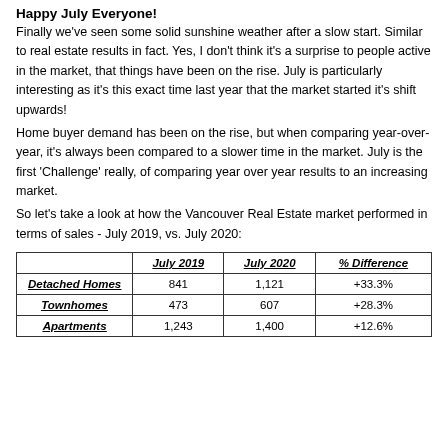Happy July Everyone!
Finally we've seen some solid sunshine weather after a slow start. Similar to real estate results in fact. Yes, I don't think it's a surprise to people active in the market, that things have been on the rise. July is particularly interesting as it's this exact time last year that the market started it's shift upwards!
Home buyer demand has been on the rise, but when comparing year-over-year, it's always been compared to a slower time in the market. July is the first 'Challenge' really, of comparing year over year results to an increasing market.
So let's take a look at how the Vancouver Real Estate market performed in terms of sales - July 2019, vs. July 2020:
|  | July 2019 | July 2020 | % Difference |
| --- | --- | --- | --- |
| Detached Homes | 841 | 1,121 | +33.3% |
| Townhomes | 473 | 607 | +28.3% |
| Apartments | 1,243 | 1,400 | +12.6% |